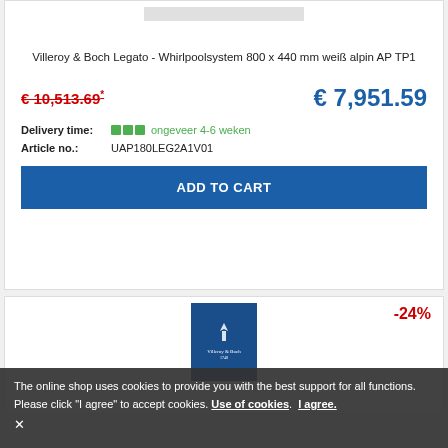[Figure (photo): Product image placeholder – light gray rectangle at top of card]
Villeroy & Boch Legato - Whirlpoolsystem 800 x 440 mm weiß alpin AP TP1
€ 10,513.69* € 7,951.59
Delivery time: ongeveer 4-6 weken
Article no.: UAP180LEG2A1V01
ADD TO CART
[Figure (logo): Villeroy & Boch logo on dark blue background]
-24%
The online shop uses cookies to provide you with the best support for all functions. Please click "I agree" to accept cookies. Use of cookies. I agree. ×